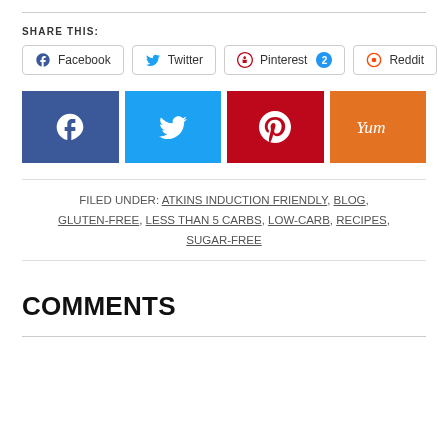SHARE THIS:
[Figure (infographic): Social share buttons row (Facebook, Twitter, Pinterest 2, Reddit) and colored social media block buttons (Facebook blue, Twitter cyan, Pinterest red, Yummly orange)]
FILED UNDER: ATKINS INDUCTION FRIENDLY, BLOG, GLUTEN-FREE, LESS THAN 5 CARBS, LOW-CARB, RECIPES, SUGAR-FREE
COMMENTS